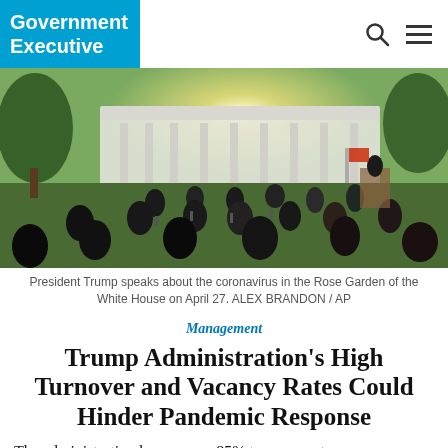Government Executive
[Figure (photo): President Trump speaks about the coronavirus in the Rose Garden of the White House on April 27. Audience seated on folding chairs on the lawn, social distancing, white building with columns in background.]
President Trump speaks about the coronavirus in the Rose Garden of the White House on April 27. ALEX BRANDON / AP
Management
Trump Administration's High Turnover and Vacancy Rates Could Hinder Pandemic Response
The administration has seen an 85% turnover rate among